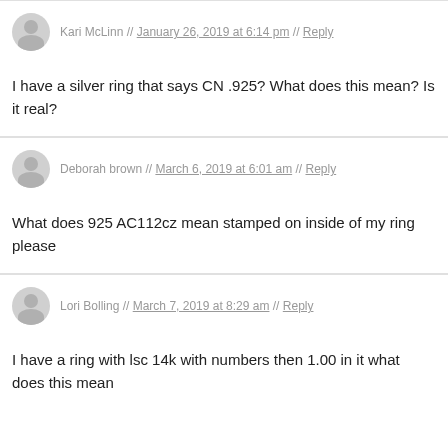Kari McLinn // January 26, 2019 at 6:14 pm // Reply
I have a silver ring that says CN .925? What does this mean? Is it real?
Deborah brown // March 6, 2019 at 6:01 am // Reply
What does 925 AC112cz mean stamped on inside of my ring please
Lori Bolling // March 7, 2019 at 8:29 am // Reply
I have a ring with lsc 14k with numbers then 1.00 in it what does this mean